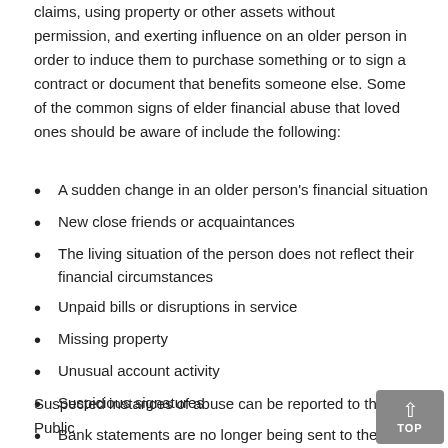claims, using property or other assets without permission, and exerting influence on an older person in order to induce them to purchase something or to sign a contract or document that benefits someone else. Some of the common signs of elder financial abuse that loved ones should be aware of include the following:
A sudden change in an older person's financial situation
New close friends or acquaintances
The living situation of the person does not reflect their financial circumstances
Unpaid bills or disruptions in service
Missing property
Unusual account activity
Suspicious signatures
Bank statements are no longer being sent to the individual's home
Suspected instances of abuse can be reported to the Public